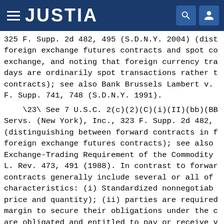JUSTIA
325 F. Supp. 2d 482, 495 (S.D.N.Y. 2004) (distinguishing foreign exchange futures contracts and spot contracts of exchange, and noting that foreign currency transactions days are ordinarily spot transactions rather than future contracts); see also Bank Brussels Lambert v. F. Supp. 741, 748 (S.D.N.Y. 1991).
\23\ See 7 U.S.C. 2(c)(2)(C)(i)(II)(bb)(BB); Servs. (New York), Inc., 323 F. Supp. 2d 482, (distinguishing between forward contracts in foreign exchange futures contracts); see also Exchange-Trading Requirement of the Commodity L. Rev. 473, 491 (1988). In contrast to forward contracts generally include several or all of characteristics: (i) Standardized nonnegotiable price and quantity); (ii) parties are required margin to secure their obligations under the are obligated and entitled to pay or receive v